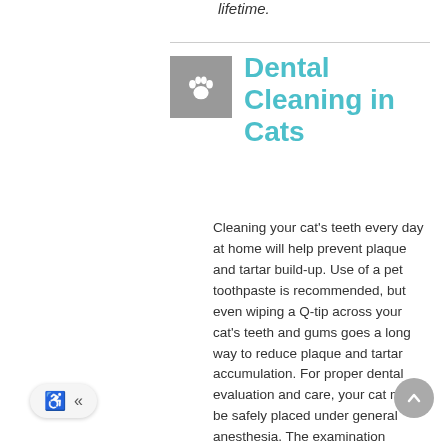lifetime.
Dental Cleaning in Cats
Cleaning your cat's teeth every day at home will help prevent plaque and tartar build-up. Use of a pet toothpaste is recommended, but even wiping a Q-tip across your cat's teeth and gums goes a long way to reduce plaque and tartar accumulation. For proper dental evaluation and care, your cat must be safely placed under general anesthesia. The examination usually includes dental X-rays and probing to evaluate